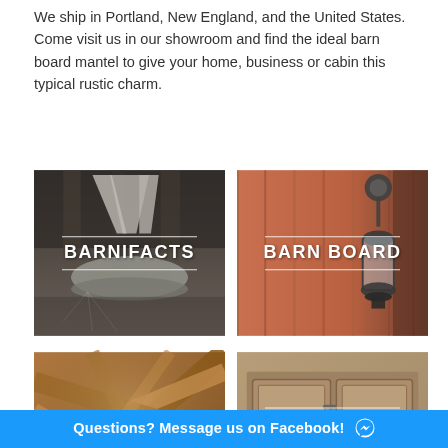We ship in Portland, New England, and the United States. Come visit us in our showroom and find the ideal barn board mantel to give your home, business or cabin this typical rustic charm.
[Figure (photo): Photo of metal barn artifact pieces with text overlay 'BARNIFACTS']
[Figure (photo): Photo of a vintage lantern hanging on barn wood wall with text overlay 'BARN BOARD']
[Figure (photo): Photo of wooden barn ceiling beams with text overlay 'BEAMS']
[Figure (photo): Photo of custom wooden furniture cabinet with text overlay 'CUSTOM FURNITURE']
Questions? Message us on Facebook!